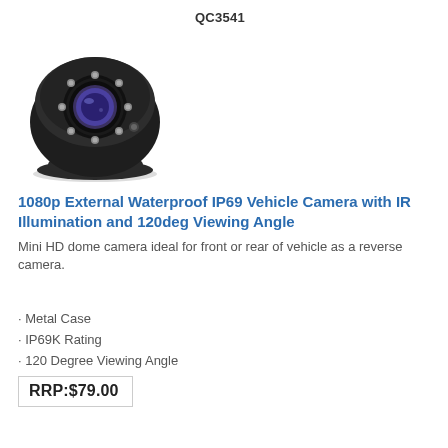QC3541
[Figure (photo): Black mini dome vehicle camera with IR LEDs around the lens]
1080p External Waterproof IP69 Vehicle Camera with IR Illumination and 120deg Viewing Angle
Mini HD dome camera ideal for front or rear of vehicle as a reverse camera.
Metal Case
IP69K Rating
120 Degree Viewing Angle
RRP:$79.00